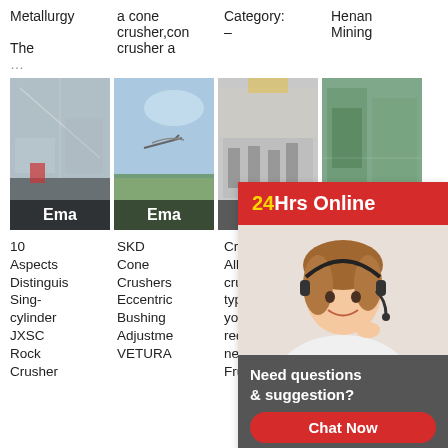Metallurgy
a cone crusher,cone crusher a
Category: -
Henan Mining
The
[Figure (photo): Industrial interior photo with 'Ema' label overlay]
[Figure (photo): Sky/aircraft photo with 'Ema' label overlay]
[Figure (photo): Industrial machinery photo with 'Ema' label overlay]
[Figure (photo): Green industrial interior photo with '24Hrs Online' chat overlay and customer service agent]
10 Aspects Distinguis Sing-cylinder JXSC Rock Crusher
SKD Cone Crushers Eccentric Bushing Adjustment VETURA
Crushers All crusher types for your reduction needs Fruitful
Fruitful HP4 CONE crushers Construct CATERPI eccentric